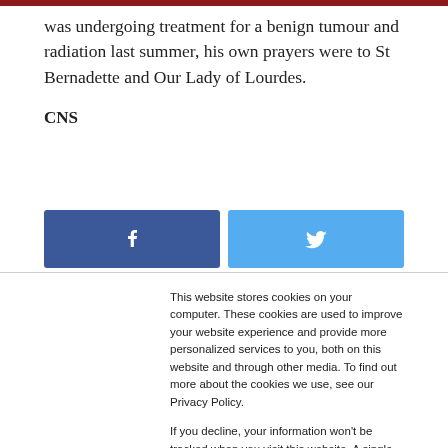was undergoing treatment for a benign tumour and radiation last summer, his own prayers were to St Bernadette and Our Lady of Lourdes.
CNS
[Figure (other): Facebook share button (dark blue) and Twitter share button (light blue) side by side]
This website stores cookies on your computer. These cookies are used to improve your website experience and provide more personalized services to you, both on this website and through other media. To find out more about the cookies we use, see our Privacy Policy.

If you decline, your information won't be tracked when you visit this website. A single cookie will be used in your browser to remember your preference not to be tracked.
Accept
Decline